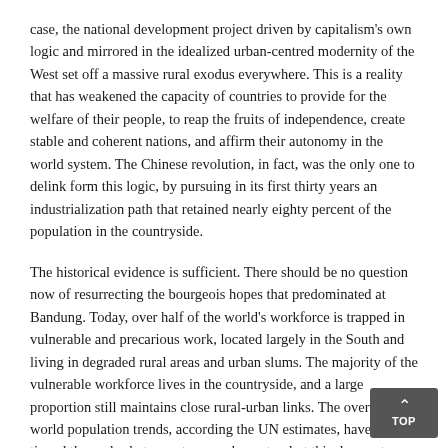case, the national development project driven by capitalism's own logic and mirrored in the idealized urban-centred modernity of the West set off a massive rural exodus everywhere. This is a reality that has weakened the capacity of countries to provide for the welfare of their people, to reap the fruits of independence, create stable and coherent nations, and affirm their autonomy in the world system. The Chinese revolution, in fact, was the only one to delink form this logic, by pursuing in its first thirty years an industrialization path that retained nearly eighty percent of the population in the countryside.
The historical evidence is sufficient. There should be no question now of resurrecting the bourgeois hopes that predominated at Bandung. Today, over half of the world's workforce is trapped in vulnerable and precarious work, located largely in the South and living in degraded rural areas and urban slums. The majority of the vulnerable workforce lives in the countryside, and a large proportion still maintains close rural-urban links. The overall world population trends, according the UN estimates, have already tipped the scales between town and country, but this does not imply urban absorption or permanency for the semi-proletarianised